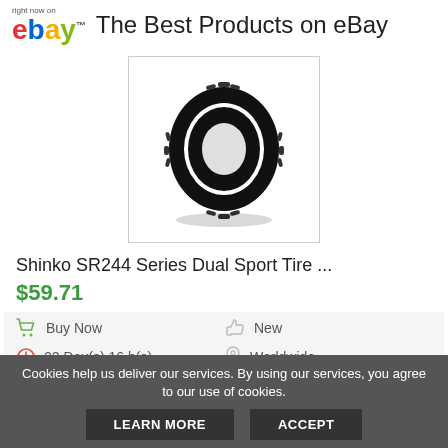right now on eBay — The Best Products on eBay
[Figure (photo): Black Shinko motorcycle tire standing upright, viewed from a slight angle, showing tread pattern on a white background inside a light gray bordered box.]
Shinko SR244 Series Dual Sport Tire ...
$59.71
Buy Now
New
22 Day(s) 16 h(s)
Worldwide
3 days
Easy Returns
Cookies help us deliver our services. By using our services, you agree to our use of cookies.
LEARN MORE   ACCEPT